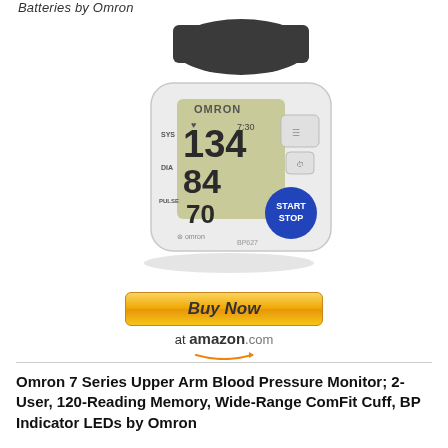Batteries by Omron
[Figure (photo): Omron wrist blood pressure monitor (model BP627) with dark cuff wrapped around, LCD display showing SYS 134, DIA 84, PULSE 70, time 7:30, and a blue START/STOP button.]
[Figure (other): Buy Now button at amazon.com with orange gradient button and Amazon logo with arrow.]
Omron 7 Series Upper Arm Blood Pressure Monitor; 2-User, 120-Reading Memory, Wide-Range ComFit Cuff, BP Indicator LEDs by Omron